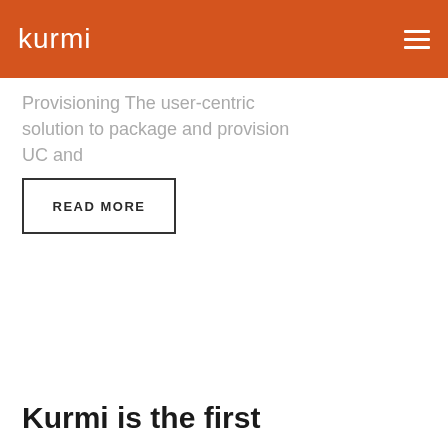kurmi
Provisioning The user-centric solution to package and provision UC and
READ MORE
Kurmi is the first